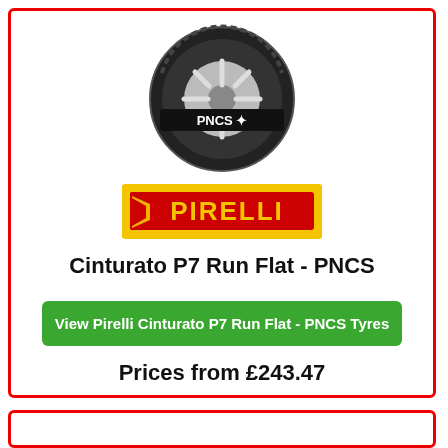[Figure (photo): Pirelli Cinturato P7 Run Flat PNCS tyre product photo, showing the tyre with PNCS label on the sidewall, viewed from a slight angle]
[Figure (logo): Pirelli logo on yellow background with red text reading PIRELLI]
Cinturato P7 Run Flat - PNCS
View Pirelli Cinturato P7 Run Flat - PNCS Tyres
Prices from £243.47